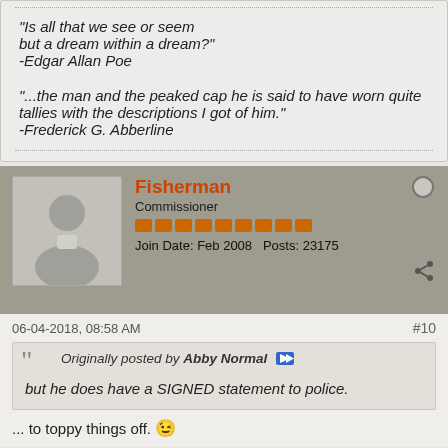"Is all that we see or seem but a dream within a dream?"
-Edgar Allan Poe
"...the man and the peaked cap he is said to have worn quite tallies with the descriptions I got of him."
-Frederick G. Abberline
Fisherman
Commissioner
Join Date: Feb 2008  Posts: 23175
06-04-2018, 08:58 AM
#10
Originally posted by Abby Normal
but he does have a SIGNED statement to police.
... to toppy things off. 😉